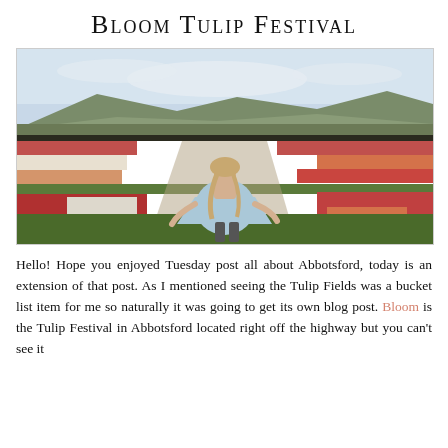Bloom Tulip Festival
[Figure (photo): A woman in a light blue dress standing in rows of colorful tulip fields (pink, red, white, orange) with hills and trees in the background at the Bloom Tulip Festival in Abbotsford.]
Hello! Hope you enjoyed Tuesday post all about Abbotsford, today is an extension of that post. As I mentioned seeing the Tulip Fields was a bucket list item for me so naturally it was going to get its own blog post. Bloom is the Tulip Festival in Abbotsford located right off the highway but you can't see it